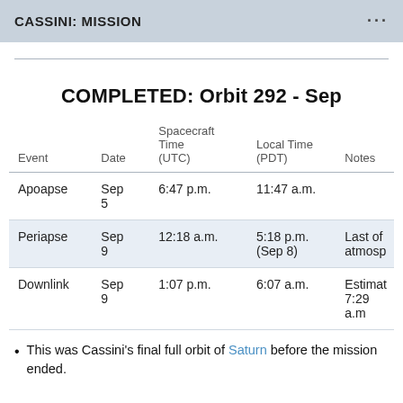CASSINI: MISSION
COMPLETED: Orbit 292 - Sep
| Event | Date | Spacecraft Time (UTC) | Local Time (PDT) | Notes |
| --- | --- | --- | --- | --- |
| Apoapse | Sep 5 | 6:47 p.m. | 11:47 a.m. |  |
| Periapse | Sep 9 | 12:18 a.m. | 5:18 p.m. (Sep 8) | Last of atmosp |
| Downlink | Sep 9 | 1:07 p.m. | 6:07 a.m. | Estimat 7:29 a.m |
This was Cassini's final full orbit of Saturn before the mission ended.